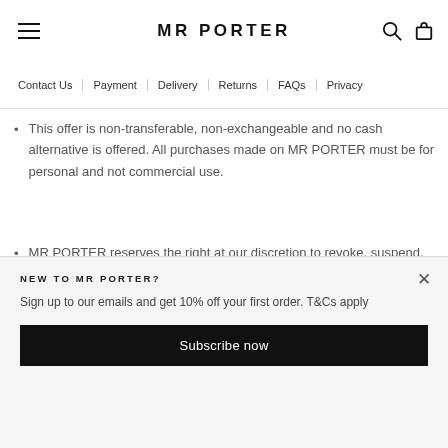MR PORTER
Contact Us | Payment | Delivery | Returns | FAQs | Privacy
This offer is non-transferable, non-exchangeable and no cash alternative is offered. All purchases made on MR PORTER must be for personal and not commercial use.
MR PORTER reserves the right at our discretion to revoke, suspend, cancel and/or amend the offer and these T&Cs at any time and without notice.
NEW TO MR PORTER?
Sign up to our emails and get 10% off your first order. T&Cs apply
Subscribe now